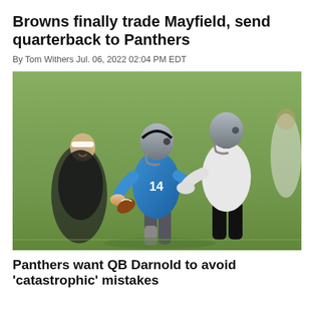Browns finally trade Mayfield, send quarterback to Panthers
By Tom Withers Jul. 06, 2022 02:04 PM EDT
[Figure (photo): Carolina Panthers practice scene: a quarterback wearing blue jersey number 14 and a black helmet hands off or fakes a handoff to a defender in white, while a coach in a black long-sleeve shirt and white visor watches smiling in the background on a green practice field.]
Panthers want QB Darnold to avoid 'catastrophic' mistakes